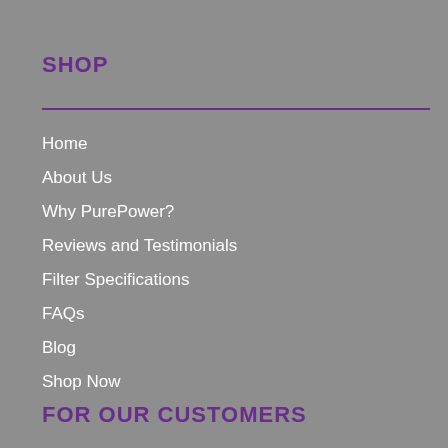SHOP
Home
About Us
Why PurePower?
Reviews and Testimonials
Filter Specifications
FAQs
Blog
Shop Now
FOR OUR CUSTOMERS